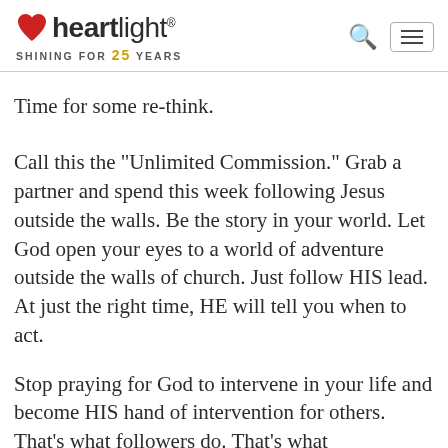heartlight® SHINING FOR 25 YEARS
Time for some re-think.
Call this the "Unlimited Commission." Grab a partner and spend this week following Jesus outside the walls. Be the story in your world. Let God open your eyes to a world of adventure outside the walls of church. Just follow HIS lead. At just the right time, HE will tell you when to act.
Stop praying for God to intervene in your life and become HIS hand of intervention for others. That's what followers do. That's what